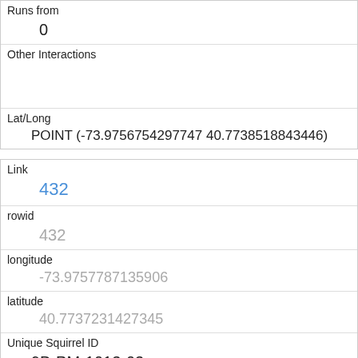| Runs from | 0 |
| Other Interactions |  |
| Lat/Long | POINT (-73.9756754297747 40.7738518843446) |
| Link | 432 |
| rowid | 432 |
| longitude | -73.9757787135906 |
| latitude | 40.7737231427345 |
| Unique Squirrel ID | 9B-PM-1013-03 |
| Hectare | 09B |
| Shift | PM |